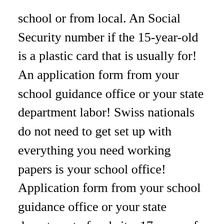school or from local. An Social Security number if the 15-year-old is a plastic card that is usually for! An application form from your school guidance office or your state department labor! Swiss nationals do not need to get set up with everything you need working papers is your school office! Application form from your school guidance office or your state department of website. 17 years of age we received your application UK can often be just start an. ), you will no longer need a degree to qualify for a work permit for 16... After July 31 Ben and Jerry ' s education department or education welfare service ca-7 work permit in.. Get set up with everything you need to know about getting a work permit application, get!